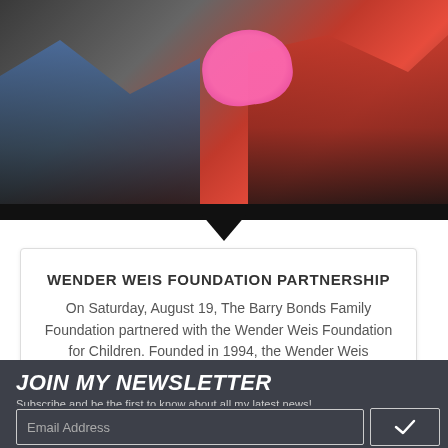[Figure (photo): Outdoor event photo showing a crowd of people; a child in a pink hat is visible in the center, with people in red and dark clothing around them.]
WENDER WEIS FOUNDATION PARTNERSHIP
On Saturday, August 19, The Barry Bonds Family Foundation partnered with the Wender Weis Foundation for Children. Founded in 1994, the Wender Weis Foundation for Children (WWFC) has been improving…
JOIN MY NEWSLETTER
Subscribe and be the first to know about all my latest news!